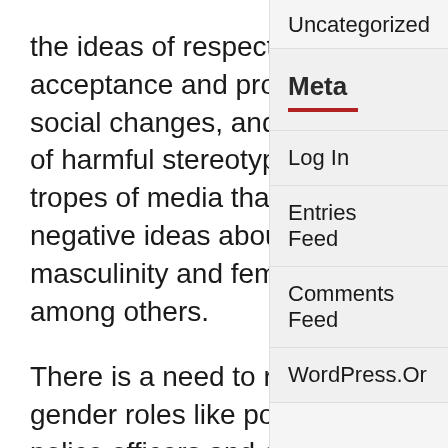the ideas of respect, diversity, acceptance and producing social changes, and getting rid of harmful stereotypes and tropes of media that build negative ideas about masculinity and femininity among others.
There is a need to redefine gender roles like politicians, police officers and other positions of power that has traditionally belonged to men.
Masculinity is diverse and is defined by factors such
Uncategorized
Meta
Log In
Entries Feed
Comments Feed
WordPress.Or